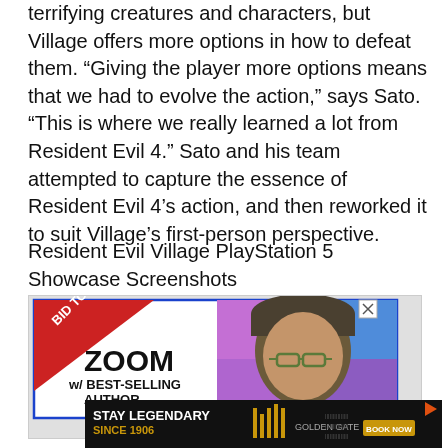terrifying creatures and characters, but Village offers more options in how to defeat them. “Giving the player more options means that we had to evolve the action,” says Sato. “This is where we really learned a lot from Resident Evil 4.” Sato and his team attempted to capture the essence of Resident Evil 4’s action, and then reworked it to suit Village’s first-person perspective.
Resident Evil Village PlayStation 5 Showcase Screenshots
[Figure (screenshot): Advertisement screenshot showing a 'BID TO WIN!' red ribbon banner, ZOOM w/ BEST-SELLING AUTHOR text, and a photo of a man with glasses and a beanie hat against a colorful abstract background. A CLOSE button is visible.]
[Figure (screenshot): Advertisement banner for Golden Gate brand reading 'STAY LEGENDARY SINCE 1906' with a logo and BOOK NOW button.]